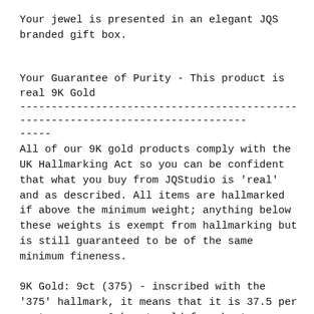Your jewel is presented in an elegant JQS branded gift box.
Your Guarantee of Purity - This product is real 9K Gold
--------------------------------------------------------------------------------
-----
All of our 9K gold products comply with the UK Hallmarking Act so you can be confident that what you buy from JQStudio is 'real' and as described. All items are hallmarked if above the minimum weight; anything below these weights is exempt from hallmarking but is still guaranteed to be of the same minimum fineness.
9K Gold: 9ct (375) - inscribed with the '375' hallmark, it means that it is 37.5 per cent pure, or 9 karat gold for short.
9ct Gold items which weigh less than 1.0g do not require a hallmark and carry a 375 stamp.